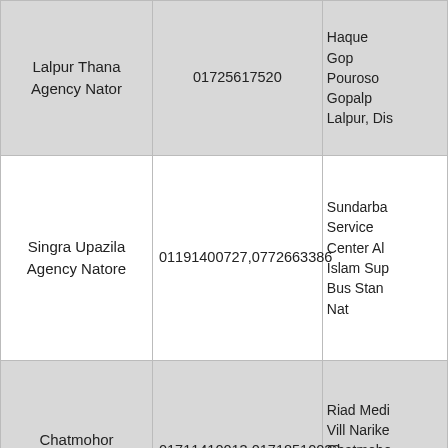| Agency Name | Phone | Address |
| --- | --- | --- |
| Lalpur Thana Agency Nator | 01725617520 | Haque Gop Pouroso Gopalp Lalpur, Dis |
| Singra Upazila Agency Natore | 01191400727,0772663386 | Sundarba Service Center Al Islam Sup Bus Stan Nat |
| Chatmohor Agency Pabna | 01711410013,01718510023 | Riad Medi Vill Narike Chatmoho Chatmo Pab |